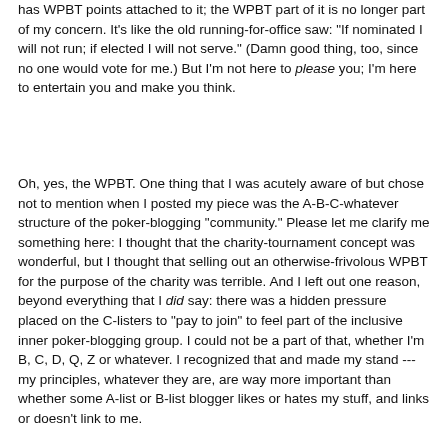has WPBT points attached to it; the WPBT part of it is no longer part of my concern. It's like the old running-for-office saw: "If nominated I will not run; if elected I will not serve." (Damn good thing, too, since no one would vote for me.) But I'm not here to please you; I'm here to entertain you and make you think.
Oh, yes, the WPBT. One thing that I was acutely aware of but chose not to mention when I posted my piece was the A-B-C-whatever structure of the poker-blogging "community." Please let me clarify me something here: I thought that the charity-tournament concept was wonderful, but I thought that selling out an otherwise-frivolous WPBT for the purpose of the charity was terrible. And I left out one reason, beyond everything that I did say: there was a hidden pressure placed on the C-listers to "pay to join" to feel part of the inclusive inner poker-blogging group. I could not be a part of that, whether I'm B, C, D, Q, Z or whatever. I recognized that and made my stand --- my principles, whatever they are, are way more important than whether some A-list or B-list blogger likes or hates my stuff, and links or doesn't link to me.